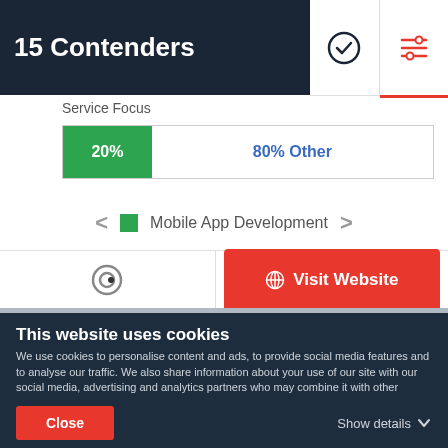15 Contenders
[Figure (infographic): Service focus bar showing 20% green segment and 80% Other in blue text, with Mobile App Development legend and navigation arrows. Also includes a Clutch.co logo icon and a Visit Website red button.]
This website uses cookies
We use cookies to personalise content and ads, to provide social media features and to analyse our traffic. We also share information about your use of our site with our social media, advertising and analytics partners who may combine it with other information that you've provided to them or that they've collected from your use of their services. You agree to our cookies if you continue to use our website.
Close
Show details